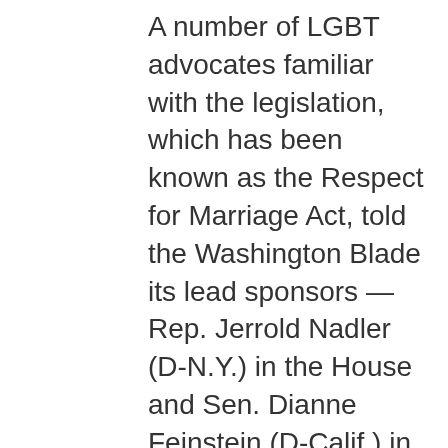A number of LGBT advocates familiar with the legislation, which has been known as the Respect for Marriage Act, told the Washington Blade its lead sponsors — Rep. Jerrold Nadler (D-N.Y.) in the House and Sen. Dianne Feinstein (D-Calif.) in the Senate — are delaying introduction until after the expected court ruling in June.
Fred Sainz, HRC's vice president of